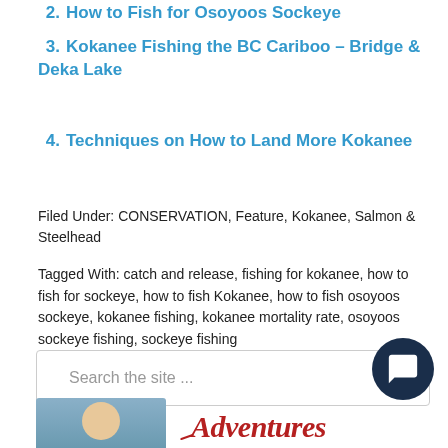2. How to Fish for Osoyoos Sockeye
3. Kokanee Fishing the BC Cariboo – Bridge & Deka Lake
4. Techniques on How to Land More Kokanee
Filed Under: CONSERVATION, Feature, Kokanee, Salmon & Steelhead
Tagged With: catch and release, fishing for kokanee, how to fish for sockeye, how to fish Kokanee, how to fish osoyoos sockeye, kokanee fishing, kokanee mortality rate, osoyoos sockeye fishing, sockeye fishing
[Figure (screenshot): Search the site input box with placeholder text 'Search the site ...']
[Figure (photo): Bottom of page showing partial photo and Adventures logo text in cursive red font]